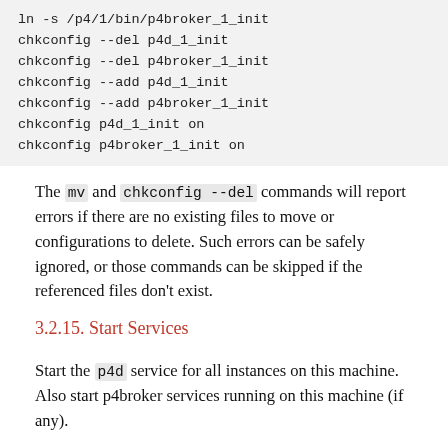ln -s /p4/1/bin/p4broker_1_init
chkconfig --del p4d_1_init
chkconfig --del p4broker_1_init
chkconfig --add p4d_1_init
chkconfig --add p4broker_1_init
chkconfig p4d_1_init on
chkconfig p4broker_1_init on
The mv and chkconfig --del commands will report errors if there are no existing files to move or configurations to delete. Such errors can be safely ignored, or those commands can be skipped if the referenced files don't exist.
3.2.15. Start Services
Start the p4d service for all instances on this machine. Also start p4broker services running on this machine (if any).